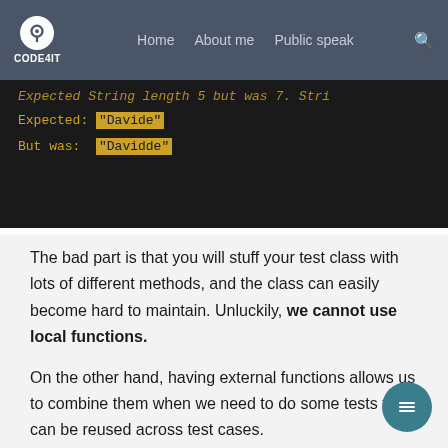CODE4IT | Home | About me | Public spea[king] | [search]
[Figure (screenshot): Dark terminal/code block showing test failure output: highlighted lines 'Expected: "Davide"' and 'But was: "Davidde"' on a black background with amber/yellow highlighted text]
The bad part is that you will stuff your test class with lots of different methods, and the class can easily become hard to maintain. Unluckily, we cannot use local functions.
On the other hand, having external functions allows us to combine them when we need to do some tests that can be reused across test cases.